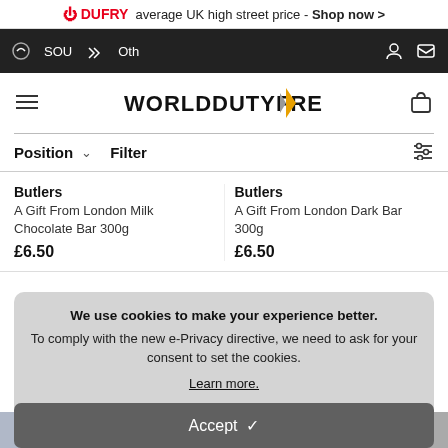DUFRY average UK high street price - Shop now >
[Figure (screenshot): Dark navigation bar with SOU and Oth icons on left, user account and mail icons on right]
[Figure (logo): WORLDDUTYFREE logo with silver and gold arrow icon, hamburger menu on left, shopping bag icon on right]
Position  Filter
Butlers A Gift From London Milk Chocolate Bar 300g £6.50
Butlers A Gift From London Dark Bar 300g £6.50
We use cookies to make your experience better. To comply with the new e-Privacy directive, we need to ask for your consent to set the cookies. Learn more.
Accept ✓